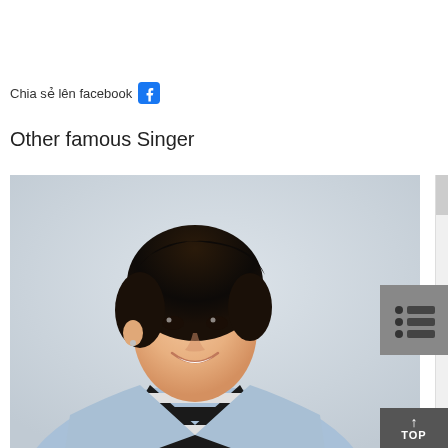Chia sẻ lên facebook 📘
Other famous Singer
[Figure (photo): Portrait photo of a young Asian male singer smiling, wearing a light blue open shirt over a black and white striped t-shirt, against a light grey background.]